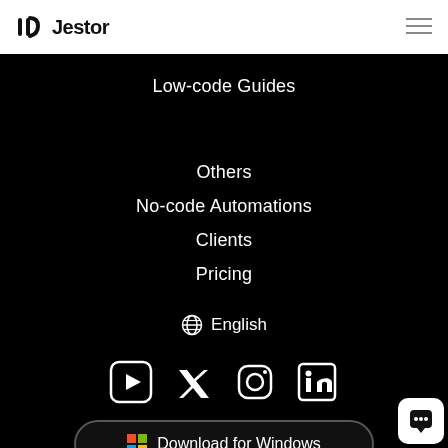Jestor
Low-code Guides
Others
No-code Automations
Clients
Pricing
English
[Figure (other): Social media icons: YouTube, Twitter, Instagram, LinkedIn]
[Figure (other): Download for Windows button with Microsoft Windows logo]
[Figure (other): Chat widget icon in bottom right corner]